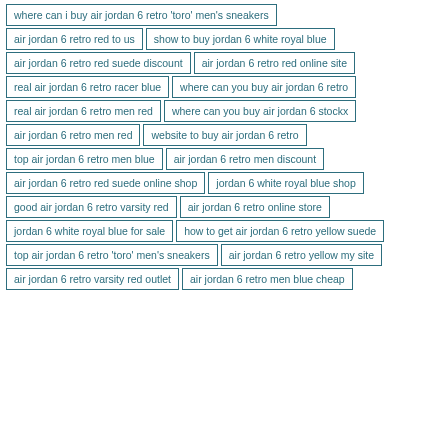where can i buy air jordan 6 retro 'toro' men's sneakers
air jordan 6 retro red to us
show to buy jordan 6 white royal blue
air jordan 6 retro red suede discount
air jordan 6 retro red online site
real air jordan 6 retro racer blue
where can you buy air jordan 6 retro
real air jordan 6 retro men red
where can you buy air jordan 6 stockx
air jordan 6 retro men red
website to buy air jordan 6 retro
top air jordan 6 retro men blue
air jordan 6 retro men discount
air jordan 6 retro red suede online shop
jordan 6 white royal blue shop
good air jordan 6 retro varsity red
air jordan 6 retro online store
jordan 6 white royal blue for sale
how to get air jordan 6 retro yellow suede
top air jordan 6 retro 'toro' men's sneakers
air jordan 6 retro yellow my site
air jordan 6 retro varsity red outlet
air jordan 6 retro men blue cheap